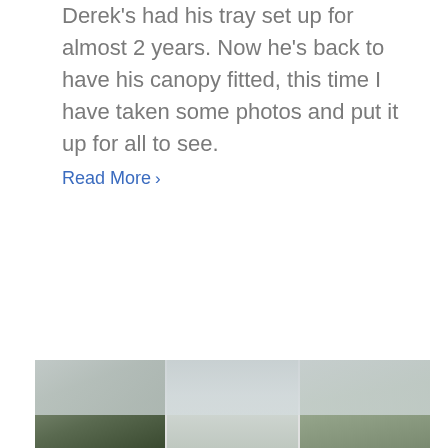Derek's had his tray set up for almost 2 years. Now he's back to have his canopy fitted, this time I have taken some photos and put it up for all to see.
Read More >
[Figure (photo): A strip photo showing outdoor scenes with trees and sky, appearing to be a landscape or vehicle canopy installation photo divided into three panels.]